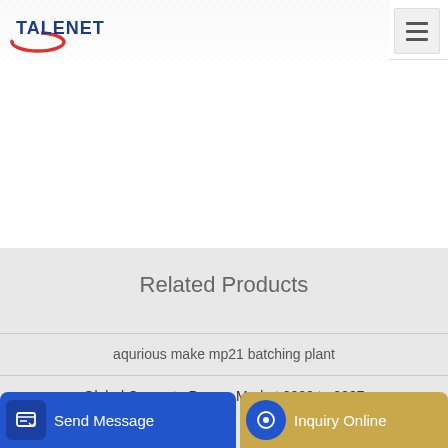[Figure (logo): Talenet company logo with red swoosh and blue text]
Related Products
aqurious make mp21 batching plant
Global Concrete Pumps Market 2020 to 2027